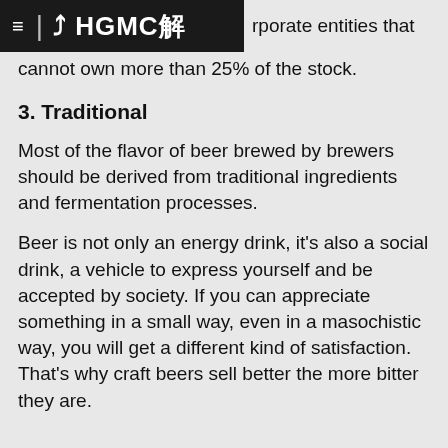HGMC [logo] rporate entities that cannot own more than 25% of the stock.
3. Traditional
Most of the flavor of beer brewed by brewers should be derived from traditional ingredients and fermentation processes.
Beer is not only an energy drink, it's also a social drink, a vehicle to express yourself and be accepted by society. If you can appreciate something in a small way, even in a masochistic way, you will get a different kind of satisfaction. That's why craft beers sell better the more bitter they are.